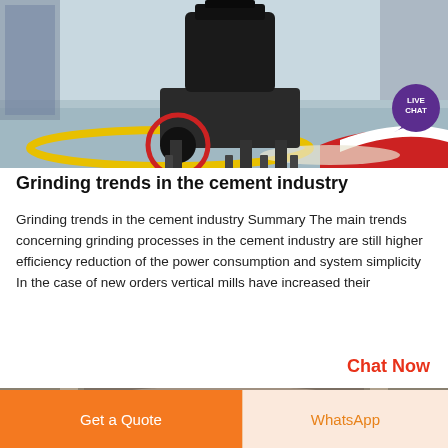[Figure (photo): Industrial cement grinding mill machine inside a factory, large black vertical roller mill with red-ringed wheel, colorful floor markings]
Grinding trends in the cement industry
Grinding trends in the cement industry Summary The main trends concerning grinding processes in the cement industry are still higher efficiency reduction of the power consumption and system simplicity In the case of new orders vertical mills have increased their
Chat Now
[Figure (photo): Industrial machinery interior, large metal cylindrical equipment in a factory setting, muted sepia tone]
Get a Quote
WhatsApp